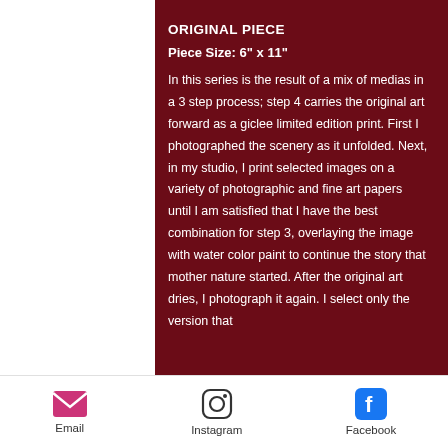ORIGINAL PIECE
Piece Size: 6" x 11"
In this series is the result of a mix of medias in a 3 step process; step 4 carries the original art forward as a giclee limited edition print. First I photographed the scenery as it unfolded. Next, in my studio, I print selected images on a variety of photographic and fine art papers until I am satisfied that I have the best combination for step 3, overlaying the image with water color paint to continue the story that mother nature started. After the original art dries, I photograph it again. I select only the version that
Email  Instagram  Facebook